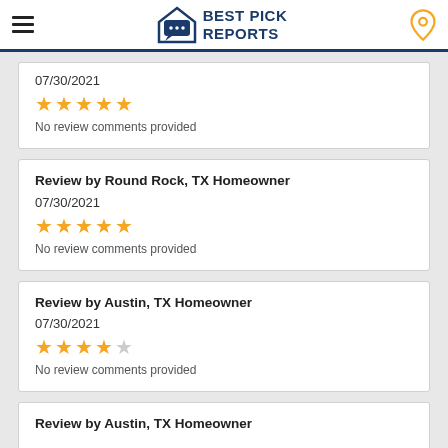Best Pick Reports
07/30/2021
★★★★★
No review comments provided
Review by Round Rock, TX Homeowner
07/30/2021
★★★★★
No review comments provided
Review by Austin, TX Homeowner
07/30/2021
★★★★☆
No review comments provided
Review by Austin, TX Homeowner